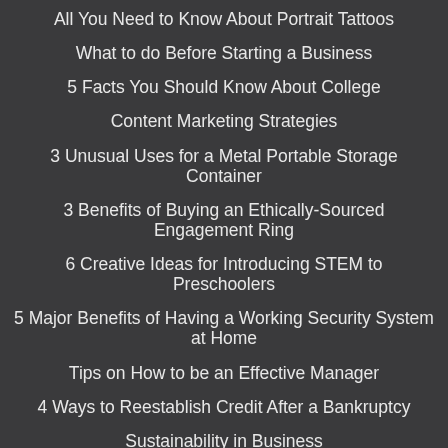All You Need to Know About Portrait Tattoos
What to do Before Starting a Business
5 Facts You Should Know About College
Content Marketing Strategies
3 Unusual Uses for a Metal Portable Storage Container
3 Benefits of Buying an Ethically-Sourced Engagement Ring
6 Creative Ideas for Introducing STEM to Preschoolers
5 Major Benefits of Having a Working Security System at Home
Tips on How to be an Effective Manager
4 Ways to Reestablish Credit After a Bankruptcy
Sustainability in Business
Do Garages Add Value To A Home?